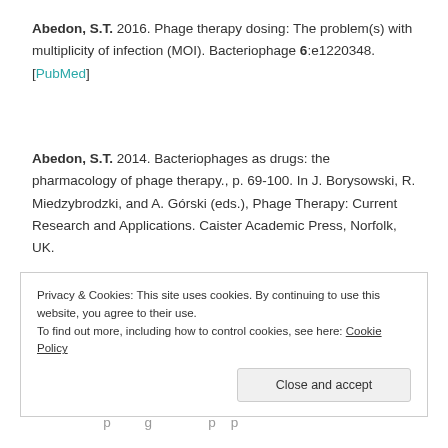Abedon, S.T. 2016. Phage therapy dosing: The problem(s) with multiplicity of infection (MOI). Bacteriophage 6:e1220348. [PubMed]
Abedon, S.T. 2014. Bacteriophages as drugs: the pharmacology of phage therapy., p. 69-100. In J. Borysowski, R. Miedzybrodzki, and A. Górski (eds.), Phage Therapy: Current Research and Applications. Caister Academic Press, Norfolk, UK.
Privacy & Cookies: This site uses cookies. By continuing to use this website, you agree to their use. To find out more, including how to control cookies, see here: Cookie Policy